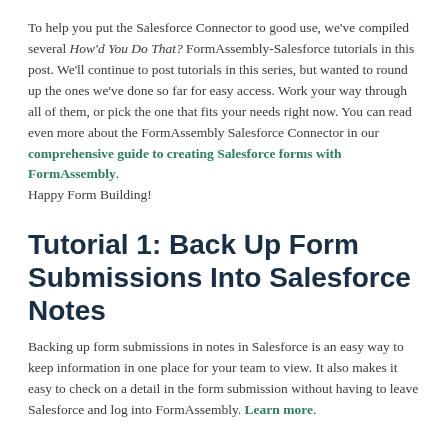To help you put the Salesforce Connector to good use, we've compiled several How'd You Do That? FormAssembly-Salesforce tutorials in this post. We'll continue to post tutorials in this series, but wanted to round up the ones we've done so far for easy access. Work your way through all of them, or pick the one that fits your needs right now. You can read even more about the FormAssembly Salesforce Connector in our comprehensive guide to creating Salesforce forms with FormAssembly. Happy Form Building!
Tutorial 1: Back Up Form Submissions Into Salesforce Notes
Backing up form submissions in notes in Salesforce is an easy way to keep information in one place for your team to view. It also makes it easy to check on a detail in the form submission without having to leave Salesforce and log into FormAssembly. Learn more.